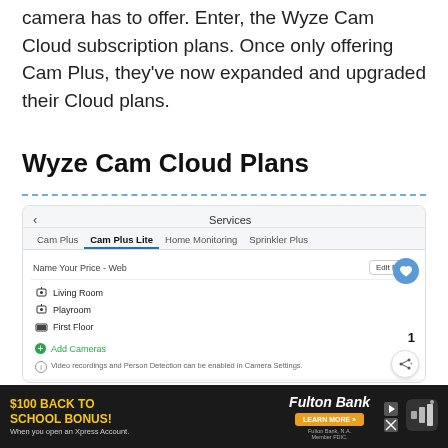camera has to offer. Enter, the Wyze Cam Cloud subscription plans. Once only offering Cam Plus, they've now expanded and upgraded their Cloud plans.
Wyze Cam Cloud Plans
[Figure (screenshot): Screenshot of Wyze app Services screen showing Cam Plus, Cam Plus Lite, Home Monitoring, Sprinkler Plus tabs. Cam Plus Lite tab is active. Shows 'Name Your Price - Web' with Edit Plan button. Camera list includes Living Room, Playroom, First Floor. Add Cameras option in green. Info text: Video recordings and Person Detection can be enabled in Camera Settings. Heart favorite button, share button, and number 1 badge visible.]
[Figure (screenshot): Advertisement banner for Fulton Bank: '$100 Back to School Bonus! When you open an Xpress Account.' with Learn More button. Fulton Bank, N.A. Member FDIC. App icon visible on right.]